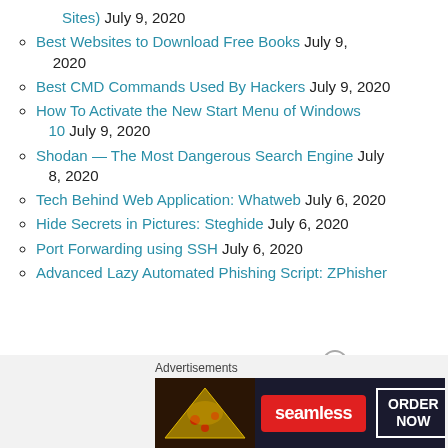Sites) July 9, 2020
Best Websites to Download Free Books July 9, 2020
Best CMD Commands Used By Hackers July 9, 2020
How To Activate the New Start Menu of Windows 10 July 9, 2020
Shodan — The Most Dangerous Search Engine July 8, 2020
Tech Behind Web Application: Whatweb July 6, 2020
Hide Secrets in Pictures: Steghide July 6, 2020
Port Forwarding using SSH July 6, 2020
Advanced Lazy Automated Phishing Script: ZPhisher
[Figure (other): Seamless food delivery advertisement banner with pizza image, seamless logo, and ORDER NOW button]